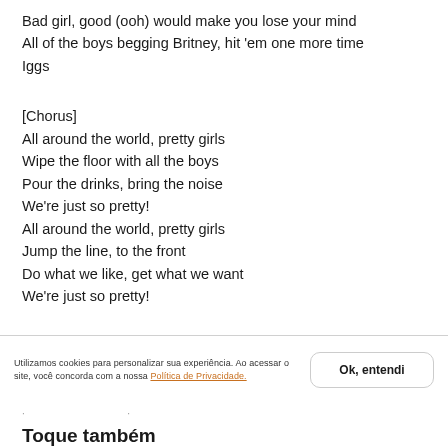Bad girl, good (ooh) would make you lose your mind
All of the boys begging Britney, hit 'em one more time
Iggs
[Chorus]
All around the world, pretty girls
Wipe the floor with all the boys
Pour the drinks, bring the noise
We're just so pretty!
All around the world, pretty girls
Jump the line, to the front
Do what we like, get what we want
We're just so pretty!
Utilizamos cookies para personalizar sua experiência. Ao acessar o site, você concorda com a nossa Política de Privacidade.
Ok, entendi
· · ·
Toque também